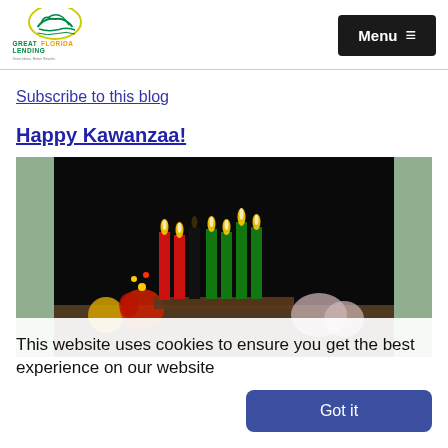[Figure (logo): Great Florida Lending logo with bird/wave graphic and tagline]
Menu ≡
Subscribe to this blog
Happy Kawanzaa!
[Figure (photo): Kwanzaa kinara with red, black, and green candles lit against a dark background with fruits and decorations]
This website uses cookies to ensure you get the best experience on our website
Got it